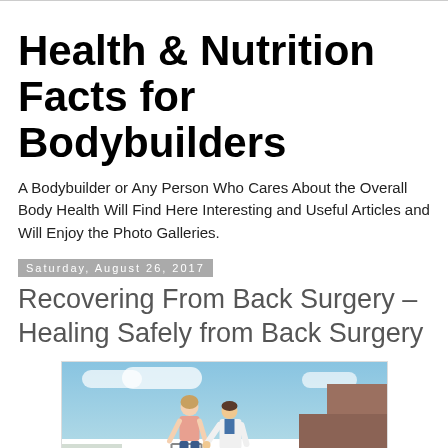Health & Nutrition Facts for Bodybuilders
A Bodybuilder or Any Person Who Cares About the Overall Body Health Will Find Here Interesting and Useful Articles and Will Enjoy the Photo Galleries.
Saturday, August 26, 2017
Recovering From Back Surgery – Healing Safely from Back Surgery
[Figure (photo): A doctor in a white coat assisting a female patient using a walking frame outdoors in front of a brick building]